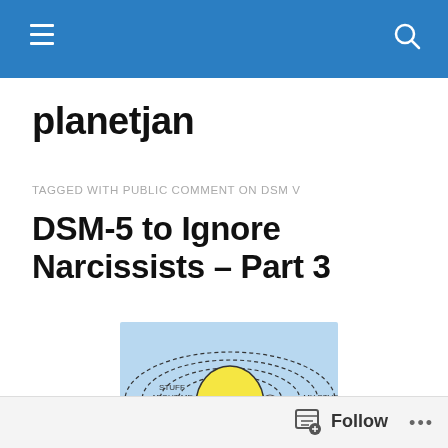planetjan — navigation bar
planetjan
TAGGED WITH PUBLIC COMMENT ON DSM V
DSM-5 to Ignore Narcissists – Part 3
[Figure (illustration): Cartoon diagram showing concentric dashed circles on a light blue background representing a narcissist's world view. Labels read 'STUFF ABOUT ME', 'MY STUFF', and 'ME' in the center yellow circle.]
Follow